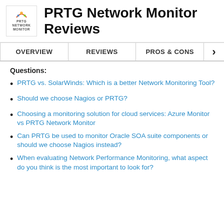PRTG Network Monitor Reviews
OVERVIEW | REVIEWS | PROS & CONS
Questions:
PRTG vs. SolarWinds: Which is a better Network Monitoring Tool?
Should we choose Nagios or PRTG?
Choosing a monitoring solution for cloud services: Azure Monitor vs PRTG Network Monitor
Can PRTG be used to monitor Oracle SOA suite components or should we choose Nagios instead?
When evaluating Network Performance Monitoring, what aspect do you think is the most important to look for?